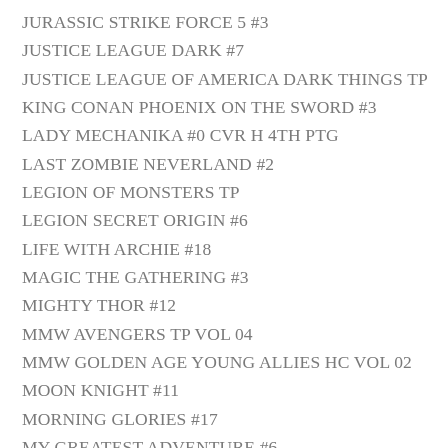JURASSIC STRIKE FORCE 5 #3
JUSTICE LEAGUE DARK #7
JUSTICE LEAGUE OF AMERICA DARK THINGS TP
KING CONAN PHOENIX ON THE SWORD #3
LADY MECHANIKA #0 CVR H 4TH PTG
LAST ZOMBIE NEVERLAND #2
LEGION OF MONSTERS TP
LEGION SECRET ORIGIN #6
LIFE WITH ARCHIE #18
MAGIC THE GATHERING #3
MIGHTY THOR #12
MMW AVENGERS TP VOL 04
MMW GOLDEN AGE YOUNG ALLIES HC VOL 02
MOON KNIGHT #11
MORNING GLORIES #17
MY GREATEST ADVENTURE #6
NEW AVENGERS #23
NEW DEADWARDIANS #1
POWERS PREM HC VOL 05 ANARCHY
PREVIEWS VOL XXII
RACHEL RISING TP VOL 01 SHADOW OF DEATH
ROGER LANGRIDGES SNARKED #6